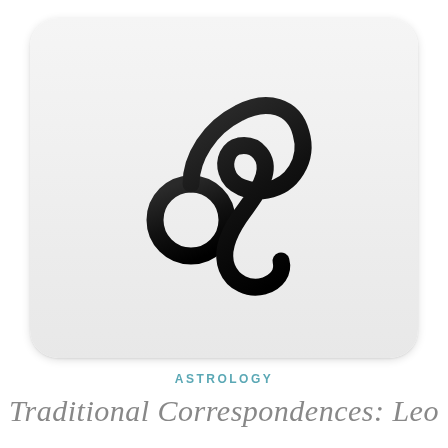[Figure (illustration): Leo zodiac symbol — a stylized glyph resembling a cursive lowercase letter resembling a lion's mane, rendered in bold black with a gradient, displayed on a rounded-rectangle white/light-gray card with subtle shadow.]
ASTROLOGY
Traditional Correspondences: Leo